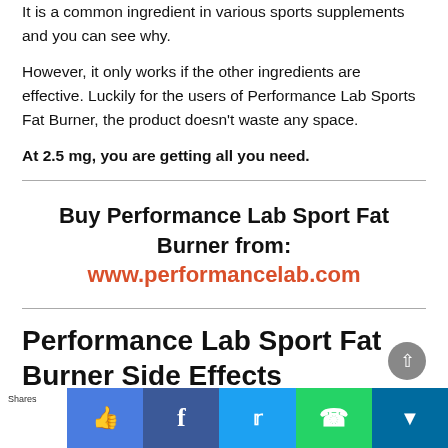It is a common ingredient in various sports supplements and you can see why.
However, it only works if the other ingredients are effective. Luckily for the users of Performance Lab Sports Fat Burner, the product doesn't waste any space.
At 2.5 mg, you are getting all you need.
Buy Performance Lab Sport Fat Burner from: www.performancelab.com
Performance Lab Sport Fat Burner Side Effects
The good news here is that there is nothing in this product that you would not want to consume. All the